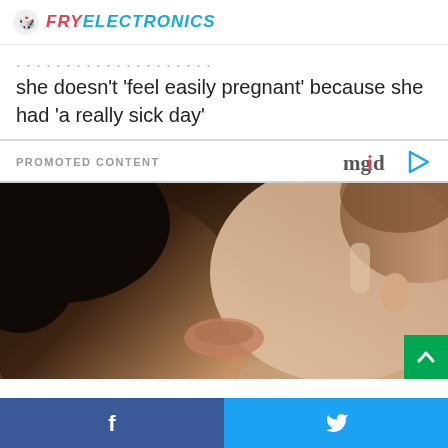FRY ELECTRONICS
she doesn't 'feel easily pregnant' because she had 'a really sick day'
PROMOTED CONTENT
[Figure (photo): A couple kissing closely, a young man and woman in an intimate moment]
Facebook share | Twitter share